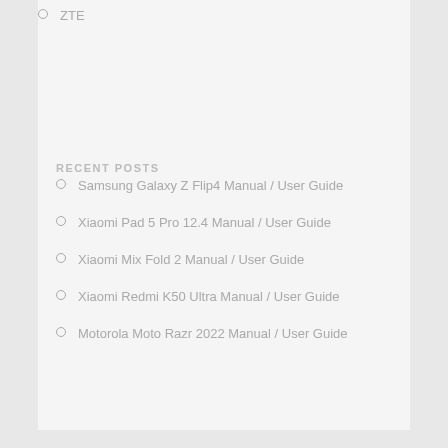ZTE
RECENT POSTS
Samsung Galaxy Z Flip4 Manual / User Guide
Xiaomi Pad 5 Pro 12.4 Manual / User Guide
Xiaomi Mix Fold 2 Manual / User Guide
Xiaomi Redmi K50 Ultra Manual / User Guide
Motorola Moto Razr 2022 Manual / User Guide